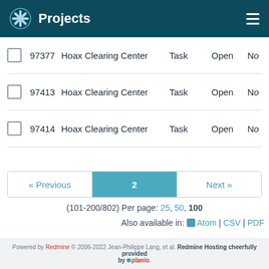Projects
97377  Hoax Clearing Center  Task  Open  No
97413  Hoax Clearing Center  Task  Open  No
97414  Hoax Clearing Center  Task  Open  No
« Previous  2  Next »
(101-200/802) Per page: 25, 50, 100
Also available in: Atom | CSV | PDF
Powered by Redmine © 2006-2022 Jean-Philippe Lang, et al. Redmine Hosting cheerfully provided by planio.